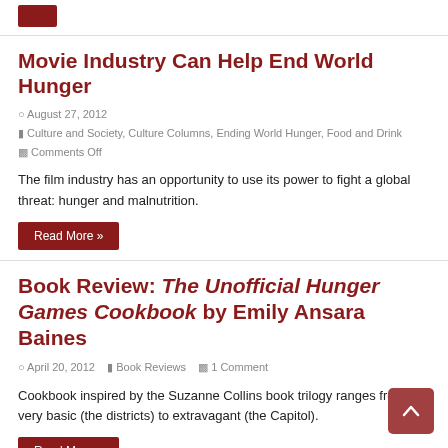Movie Industry Can Help End World Hunger
August 27, 2012
Culture and Society, Culture Columns, Ending World Hunger, Food and Drink
Comments Off
The film industry has an opportunity to use its power to fight a global threat: hunger and malnutrition.
Book Review: The Unofficial Hunger Games Cookbook by Emily Ansara Baines
April 20, 2012   Book Reviews   1 Comment
Cookbook inspired by the Suzanne Collins book trilogy ranges from very basic (the districts) to extravagant (the Capitol).